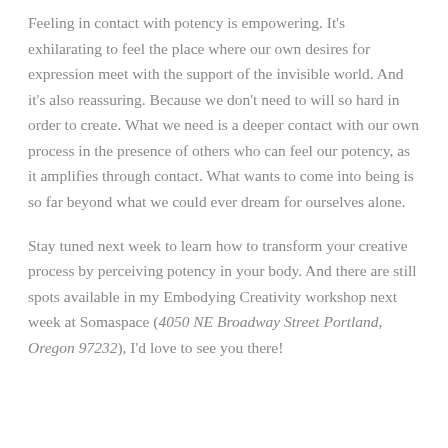Feeling in contact with potency is empowering. It's exhilarating to feel the place where our own desires for expression meet with the support of the invisible world. And it's also reassuring. Because we don't need to will so hard in order to create. What we need is a deeper contact with our own process in the presence of others who can feel our potency, as it amplifies through contact. What wants to come into being is so far beyond what we could ever dream for ourselves alone.
Stay tuned next week to learn how to transform your creative process by perceiving potency in your body. And there are still spots available in my Embodying Creativity workshop next week at Somaspace (4050 NE Broadway Street Portland, Oregon 97232), I'd love to see you there!